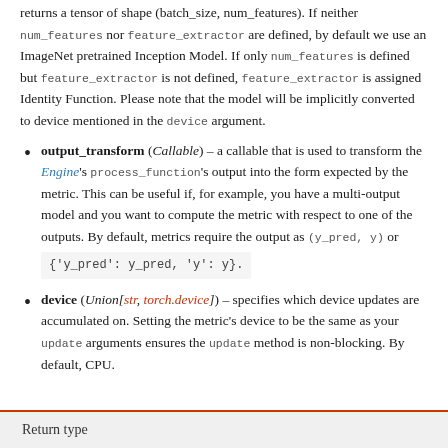returns a tensor of shape (batch_size, num_features). If neither num_features nor feature_extractor are defined, by default we use an ImageNet pretrained Inception Model. If only num_features is defined but feature_extractor is not defined, feature_extractor is assigned Identity Function. Please note that the model will be implicitly converted to device mentioned in the device argument.
output_transform (Callable) – a callable that is used to transform the Engine's process_function's output into the form expected by the metric. This can be useful if, for example, you have a multi-output model and you want to compute the metric with respect to one of the outputs. By default, metrics require the output as (y_pred, y) or {'y_pred': y_pred, 'y': y}.
device (Union[str, torch.device]) – specifies which device updates are accumulated on. Setting the metric's device to be the same as your update arguments ensures the update method is non-blocking. By default, CPU.
Return type